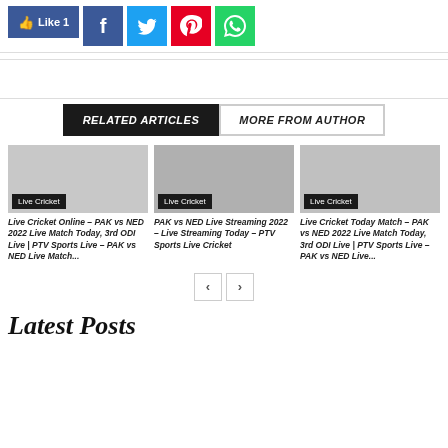[Figure (screenshot): Social sharing buttons: Like 1 (Facebook), Facebook share, Twitter share, Pinterest share, WhatsApp share]
RELATED ARTICLES | MORE FROM AUTHOR
[Figure (photo): Article card 1: Live Cricket label, article about Live Cricket Online – PAK vs NED 2022 Live Match Today]
[Figure (photo): Article card 2: Live Cricket label, PAK vs NED Live Streaming 2022 – Live Streaming Today – PTV Sports Live Cricket]
[Figure (photo): Article card 3: Live Cricket label, Live Cricket Today Match – PAK vs NED 2022 Live Match Today]
Latest Posts